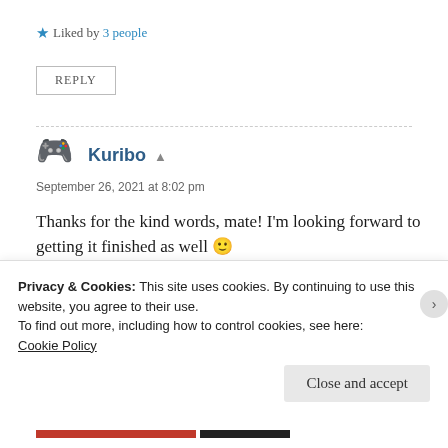★ Liked by 3 people
REPLY
Kuribo — September 26, 2021 at 8:02 pm
Thanks for the kind words, mate! I'm looking forward to getting it finished as well 🙂
★ Liked by 2 people
Privacy & Cookies: This site uses cookies. By continuing to use this website, you agree to their use.
To find out more, including how to control cookies, see here: Cookie Policy
Close and accept